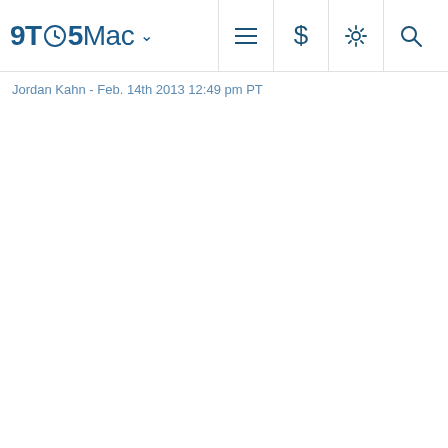9TO5Mac
Jordan Kahn - Feb. 14th 2013 12:49 pm PT